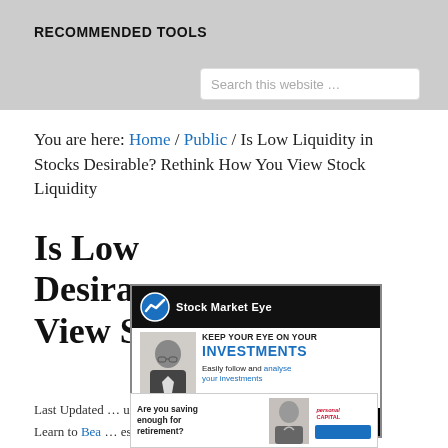RECOMMENDED TOOLS
Search this website …
You are here: Home / Public / Is Low Liquidity in Stocks Desirable? Rethink How You View Stock Liquidity
Is Low Liquidity in Stocks Desirable? Rethink How You View Stock Liquidity
[Figure (photo): Stock Market Eye advertisement: 'KEEP YOUR EYE ON YOUR INVESTMENTS. Easily follow and analyse your investments.' Features logo with ticker arrow and photo of a man in suit.]
[Figure (photo): Personal Capital advertisement: 'Are you saving enough for retirement?' with photo of a woman thinking.]
Last Updated … umar, MBA .
Learn to Bea … esting Case